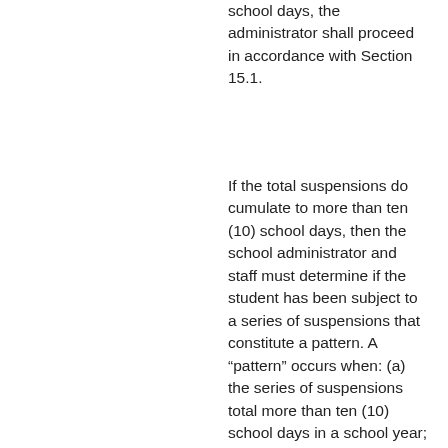school days, the administrator shall proceed in accordance with Section 15.1.
If the total suspensions do cumulate to more than ten (10) school days, then the school administrator and staff must determine if the student has been subject to a series of suspensions that constitute a pattern. A “pattern” occurs when: (a) the series of suspensions total more than ten (10) school days in a school year; (b) the student’s behavior is substantially similar to previous incidents that resulted in the series of suspensions; and (c) there are other factors suggesting a pattern, such as the length of each suspension, the total amount of time the student has been suspended, and the proximity in time of